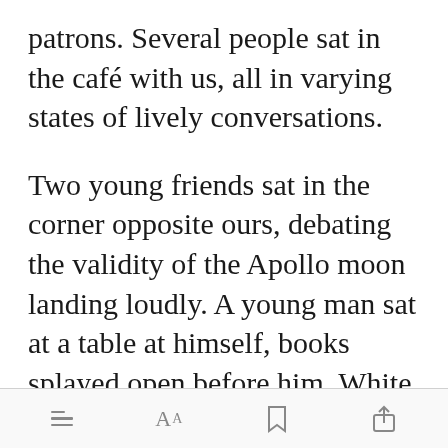patrons. Several people sat in the café with us, all in varying states of lively conversations.
Two young friends sat in the corner opposite ours, debating the validity of the Apollo moon landing loudly. A young man sat at a table at himself, books splayed open before him. White earbuds were pressed firmly into his [Open in app] d he
[toolbar: list icon, font size AA icon, bookmark icon, share icon]